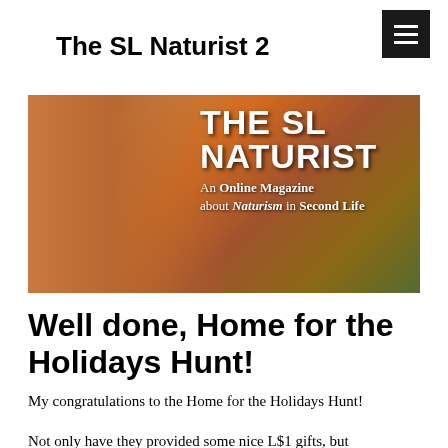The SL Naturist 2
[Figure (illustration): Banner image for 'The SL Naturist 2' online magazine showing two nude figures from behind against an outdoor background, with large white text reading 'THE SL NATURIST 2' and subtitle 'An Online Magazine about Naturism in Second Life']
Well done, Home for the Holidays Hunt!
My congratulations to the Home for the Holidays Hunt!
Not only have they provided some nice L$1 gifts, but